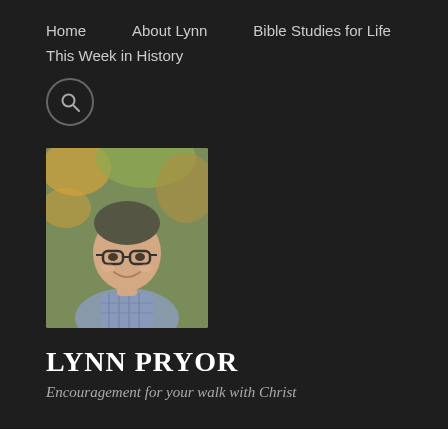Home   About Lynn   Bible Studies for Life   This Week in History
[Figure (photo): Headshot photo of Lynn Pryor, a middle-aged man with glasses, smiling, wearing a plaid shirt, with autumn foliage in the background]
LYNN PRYOR
Encouragement for your walk with Christ
RANDOM MUSINGS
What to Do if Donald Trump is Elected